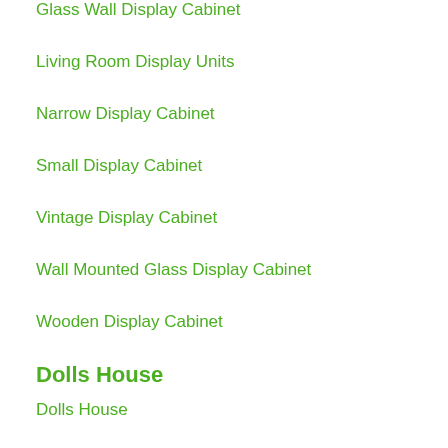Glass Wall Display Cabinet
Living Room Display Units
Narrow Display Cabinet
Small Display Cabinet
Vintage Display Cabinet
Wall Mounted Glass Display Cabinet
Wooden Display Cabinet
Dolls House
Dolls House
Electric Blankets
Dreamland Electric Blanket
Electric Fleece Blanket
Electric Throws On Sale
Heated Throw With Sleeves